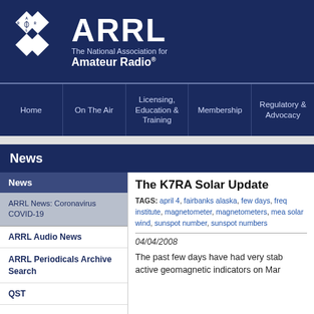[Figure (logo): ARRL logo with diamond shapes and text 'ARRL The National Association for Amateur Radio']
ARRL The National Association for Amateur Radio
Home | On The Air | Licensing, Education & Training | Membership | Regulatory & Advocacy
News
News
ARRL News: Coronavirus COVID-19
ARRL Audio News
ARRL Periodicals Archive Search
QST
The K7RA Solar Update
TAGS: april 4, fairbanks alaska, few days, freq institute, magnetometer, magnetometers, mea solar wind, sunspot number, sunspot numbers
04/04/2008
The past few days have had very stable geomagnetic conditions, with no active geomagnetic indicators on Mar